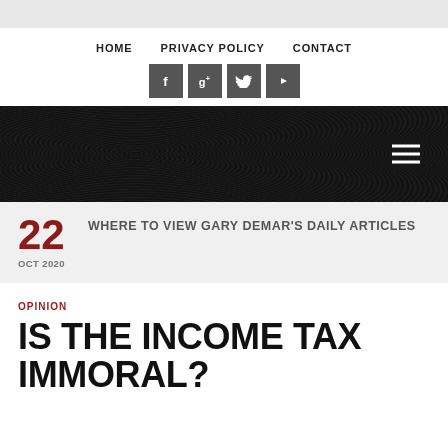HOME   PRIVACY POLICY   CONTACT
[Figure (screenshot): Social media icons: Facebook, Google+, Twitter, YouTube]
[Figure (screenshot): Dark textured hero banner with hamburger menu icon on the right]
22 WHERE TO VIEW GARY DEMAR'S DAILY ARTICLES OCT 2020
OPINION
IS THE INCOME TAX IMMORAL?